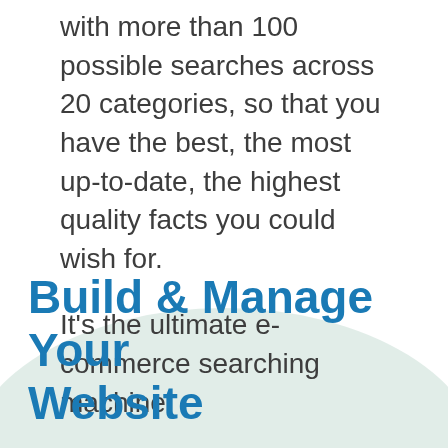with more than 100 possible searches across 20 categories, so that you have the best, the most up-to-date, the highest quality facts you could wish for.
It's the ultimate e-commerce searching machine.
Build & Manage Your Website